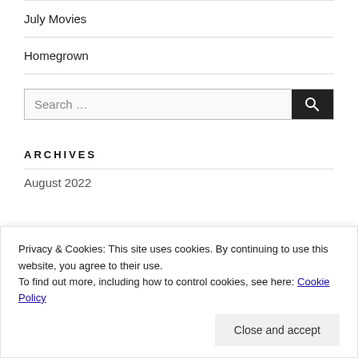July Movies
Homegrown
Search …
ARCHIVES
Privacy & Cookies: This site uses cookies. By continuing to use this website, you agree to their use.
To find out more, including how to control cookies, see here: Cookie Policy
Close and accept